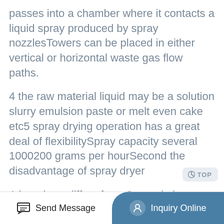passes into a chamber where it contacts a liquid spray produced by spray nozzlesTowers can be placed in either vertical or horizontal waste gas flow paths.
4 the raw material liquid may be a solution slurry emulsion paste or melt even cake etc5 spray drying operation has a great deal of flexibilitySpray capacity several 1000200 grams per hourSecond the disadvantage of spray dryer
A box dryer differs from Spray drying towers by being horizontal and box shaped and therefore it is generally more compact and can often be installed in an existing buildingLow CapEx higher yield nozzle atomization easy operation and preserved product properties are just some of the unique product benefits of the SANOVO GentleAir
Send Message   Inquiry Online